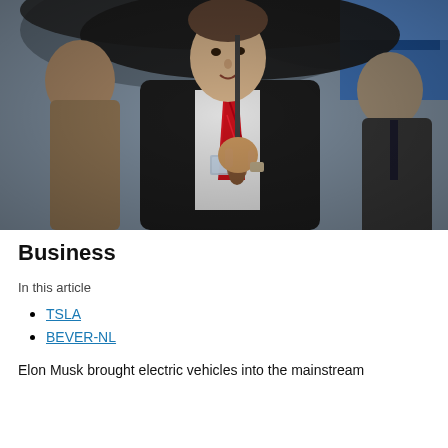[Figure (photo): A man in a dark suit with a red tie holding an umbrella, wearing a lanyard with an ID badge. Other people visible in background, one holding a blue flag. Outdoor setting.]
Business
In this article
TSLA
BEVER-NL
Elon Musk brought electric vehicles into the mainstream